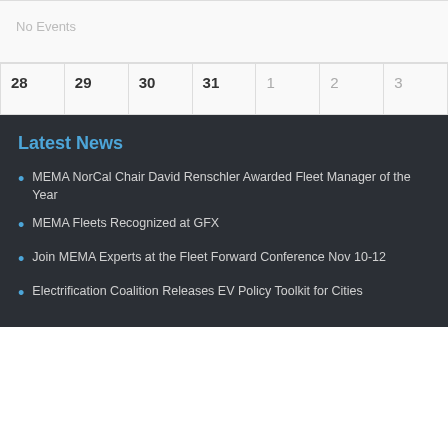No Events
| 28 | 29 | 30 | 31 | 1 | 2 | 3 |
| --- | --- | --- | --- | --- | --- | --- |
|  |
Latest News
MEMA NorCal Chair David Renschler Awarded Fleet Manager of the Year
MEMA Fleets Recognized at GFX
Join MEMA Experts at the Fleet Forward Conference Nov 10-12
Electrification Coalition Releases EV Policy Toolkit for Cities